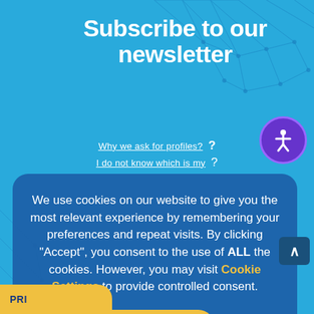Subscribe to our newsletter
Why we ask for profiles?
I do not know which is my
We use cookies on our website to give you the most relevant experience by remembering your preferences and repeat visits. By clicking “Accept”, you consent to the use of ALL the cookies. However, you may visit Cookie Settings to provide controlled consent.
ACCEPT